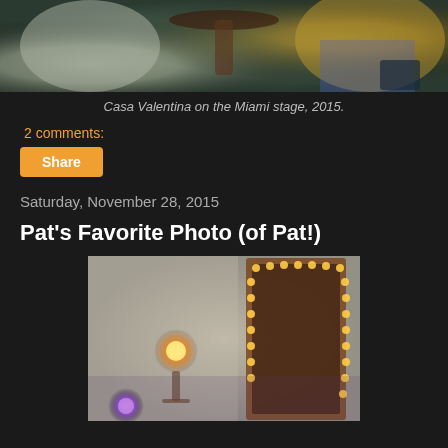[Figure (photo): Top portion of a theatrical stage photo showing performers in period/colorful costumes seated near a small round table, partially cropped]
Casa Valentina on the Miami stage, 2015.
2 comments:
Share
Saturday, November 28, 2015
Pat's Favorite Photo (of Pat!)
[Figure (photo): A dimly lit backstage or dressing room scene with a warm glowing lamp, vanity mirror with light bulbs around the frame, and a purple light source at the bottom]